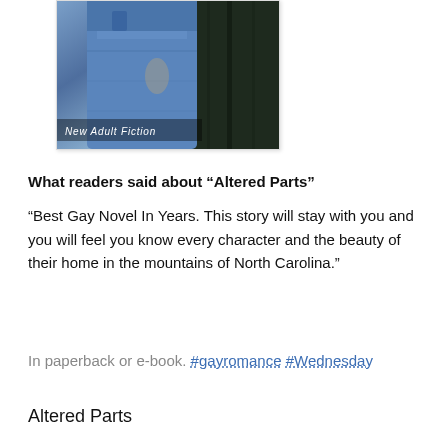[Figure (photo): Book cover for 'Altered Parts' showing a person in blue jeans against a dark wooden door background, with 'New Adult Fiction' text overlay]
What readers said about “Altered Parts”
“Best Gay Novel In Years. This story will stay with you and you will feel you know every character and the beauty of their home in the mountains of North Carolina.”
In paperback or e-book. #gayromance #Wednesday
Altered Parts